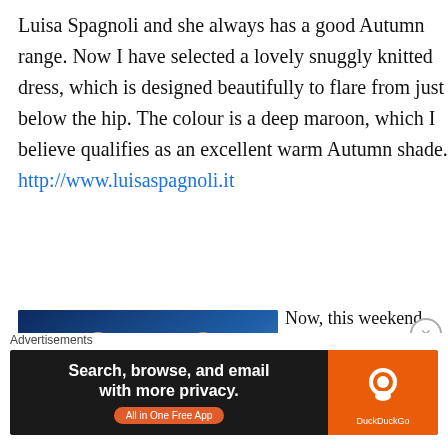Luisa Spagnoli and she always has a good Autumn range. Now I have selected a lovely snuggly knitted dress, which is designed beautifully to flare from just below the hip. The colour is a deep maroon, which I believe qualifies as an excellent warm Autumn shade. http://www.luisaspagnoli.it
[Figure (photo): Promotional rugby image showing Italian and Argentinian players with 'Autumn Nations' branding overlay in blue tones]
Now, this weekend is a great one for rugby fans, snuggled up in front of the telly. Yesterday we watched poor
Advertisements
[Figure (other): DuckDuckGo advertisement banner: 'Search, browse, and email with more privacy. All in One Free App' with DuckDuckGo logo on orange background]